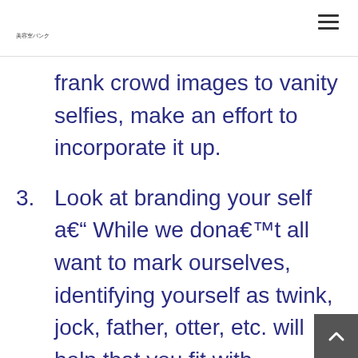美容室パンク
frank crowd images to vanity selfies, make an effort to incorporate it up.
3. Look at branding your self a€" While we dona€™t all want to mark ourselves, identifying yourself as twink, jock, father, otter, etc. will help that you fit with individuals who're in the kinds.
4. Dona€™t end up being hateful or a dickhead a€" The amount of Grindr profi…